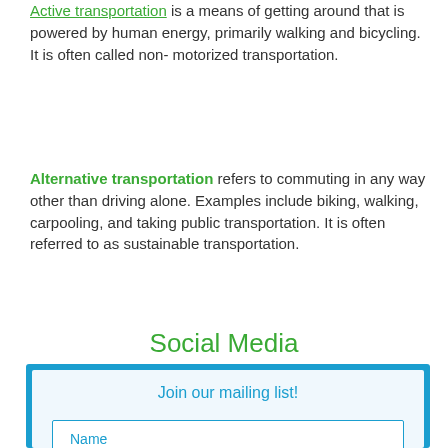Active transportation is a means of getting around that is powered by human energy, primarily walking and bicycling. It is often called non-motorized transportation.
Alternative transportation refers to commuting in any way other than driving alone. Examples include biking, walking, carpooling, and taking public transportation. It is often referred to as sustainable transportation.
Social Media
[Figure (screenshot): A mailing list signup form with a blue border, containing fields for Name and Email Address, with the text 'Join our mailing list!' at the top. A camera device partially obscures the email field.]